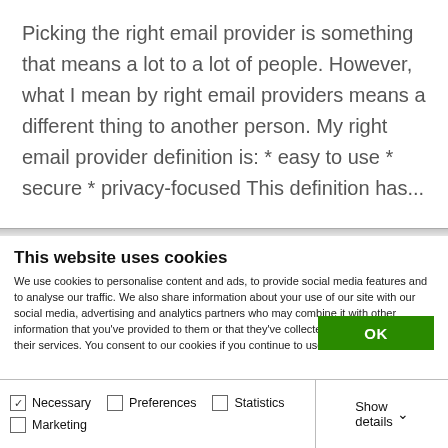Picking the right email provider is something that means a lot to a lot of people. However, what I mean by right email providers means a different thing to another person. My right email provider definition is: * easy to use * secure * privacy-focused This definition has...
This website uses cookies
We use cookies to personalise content and ads, to provide social media features and to analyse our traffic. We also share information about your use of our site with our social media, advertising and analytics partners who may combine it with other information that you've provided to them or that they've collected from your use of their services. You consent to our cookies if you continue to use our website.